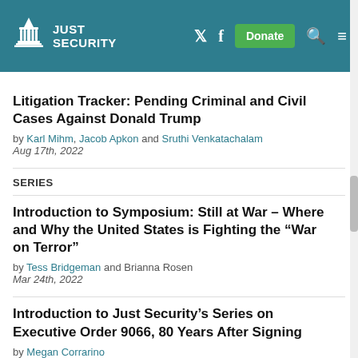Just Security
Litigation Tracker: Pending Criminal and Civil Cases Against Donald Trump
by Karl Mihm, Jacob Apkon and Sruthi Venkatachalam
Aug 17th, 2022
SERIES
Introduction to Symposium: Still at War – Where and Why the United States is Fighting the “War on Terror”
by Tess Bridgeman and Brianna Rosen
Mar 24th, 2022
Introduction to Just Security’s Series on Executive Order 9066, 80 Years After Signing
by Megan Corrarino
Feb 18th, 2022